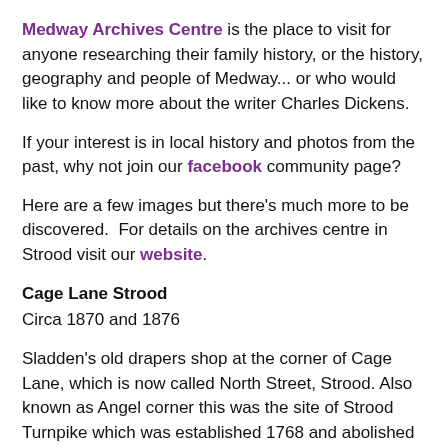Medway Archives Centre is the place to visit for anyone researching their family history, or the history, geography and people of Medway... or who would like to know more about the writer Charles Dickens.
If your interest is in local history and photos from the past, why not join our facebook community page?
Here are a few images but there's much more to be discovered.  For details on the archives centre in Strood visit our website.
Cage Lane Strood
Circa 1870 and 1876
Sladden's old drapers shop at the corner of Cage Lane, which is now called North Street, Strood. Also known as Angel corner this was the site of Strood Turnpike which was established 1768 and abolished in 1876.